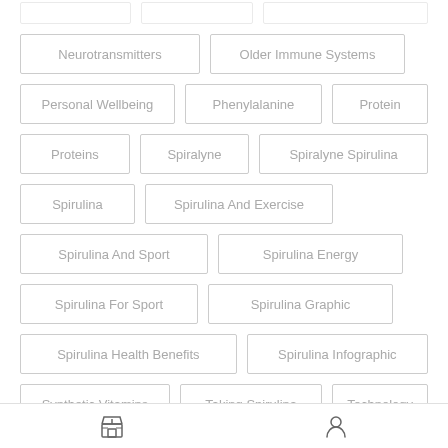Neurotransmitters
Older Immune Systems
Personal Wellbeing
Phenylalanine
Protein
Proteins
Spiralyne
Spiralyne Spirulina
Spirulina
Spirulina And Exercise
Spirulina And Sport
Spirulina Energy
Spirulina For Sport
Spirulina Graphic
Spirulina Health Benefits
Spirulina Infographic
Synthetic Vitamins
Taking Spirulina
Technology
store icon | user icon